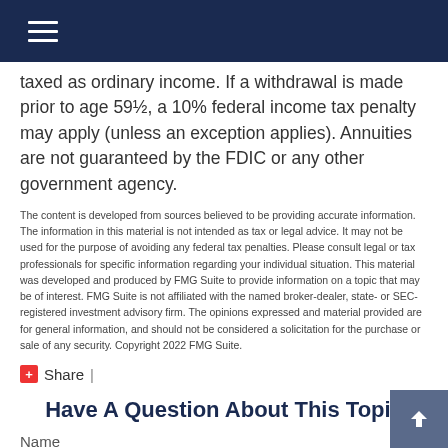Navigation header with hamburger menu
taxed as ordinary income. If a withdrawal is made prior to age 59½, a 10% federal income tax penalty may apply (unless an exception applies). Annuities are not guaranteed by the FDIC or any other government agency.
The content is developed from sources believed to be providing accurate information. The information in this material is not intended as tax or legal advice. It may not be used for the purpose of avoiding any federal tax penalties. Please consult legal or tax professionals for specific information regarding your individual situation. This material was developed and produced by FMG Suite to provide information on a topic that may be of interest. FMG Suite is not affiliated with the named broker-dealer, state- or SEC-registered investment advisory firm. The opinions expressed and material provided are for general information, and should not be considered a solicitation for the purchase or sale of any security. Copyright 2022 FMG Suite.
Share |
Have A Question About This Topic
Name